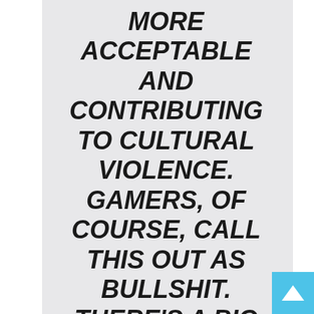MORE ACCEPTABLE AND CONTRIBUTING TO CULTURAL VIOLENCE. GAMERS, OF COURSE, CALL THIS OUT AS BULLSHIT. THERE'S A BIG DISTINCTION BETWEEN FANTASY AND REALITY, AND GAMERS, MYSELF INCLUDED, INSIST THAT THE LINE IS WELL-POLICED. THE WORKINGS OF A GUN